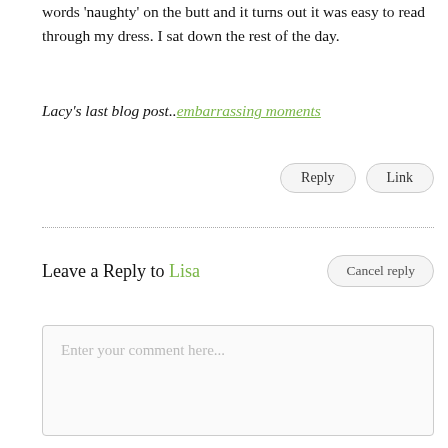words 'naughty' on the butt and it turns out it was easy to read through my dress. I sat down the rest of the day.
Lacy's last blog post.. embarrassing moments
Reply | Link
Leave a Reply to Lisa
Cancel reply
Enter your comment here...